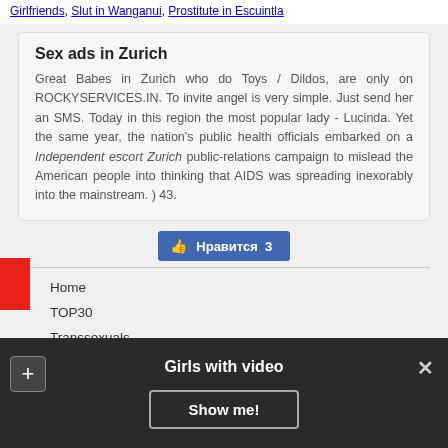Girlfriends, Slut in Wanganui, Prostitute in Escuintla
Sex ads in Zurich
Great Babes in Zurich who do Toys / Dildos, are only on ROCKYSERVICES.IN. To invite angel is very simple. Just send her an SMS. Today in this region the most popular lady - Lucinda. Yet the same year, the nation's public health officials embarked on a Independent escort Zurich public-relations campaign to mislead the American people into thinking that AIDS was spreading inexorably into the mainstream. ) 43.
[Figure (other): Facebook-style like button with thumbs up icon and text: Нравится 3]
Home
TOP30
Transsexuals
Map
Dating
[Figure (screenshot): Dark bottom bar popup with plus button, close X, title 'Girls with video', and 'Show me!' button]